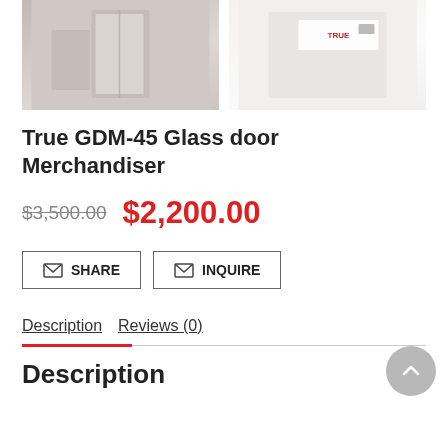[Figure (photo): Two product images of the True GDM-45 Glass Door Merchandiser side by side — left shows interior/door view, right shows exterior white cabinet with label]
True GDM-45 Glass door Merchandiser
$3,500.00  $2,200.00
✉ SHARE   ✉ INQUIRE
Description   Reviews (0)
Description